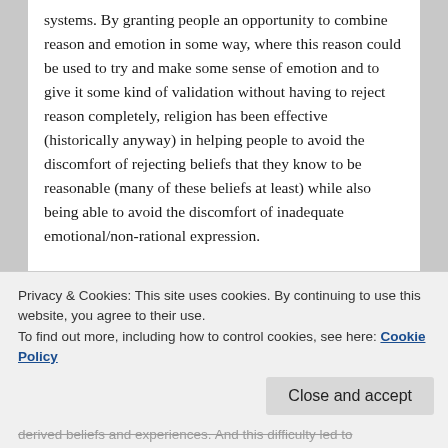systems.  By granting people an opportunity to combine reason and emotion in some way, where this reason could be used to try and make some sense of emotion and to give it some kind of validation without having to reject reason completely, religion has been effective (historically anyway) in helping people to avoid the discomfort of rejecting beliefs that they know to be reasonable (many of these beliefs at least) while also being able to avoid the discomfort of inadequate emotional/non-rational expression.
Once religion began to go by the wayside, due in large part to the accumulated knowledge acquired through reason and scientific progress, it became increasingly
Privacy & Cookies: This site uses cookies. By continuing to use this website, you agree to their use.
To find out more, including how to control cookies, see here: Cookie Policy
derived beliefs and experiences.  And this difficulty led to